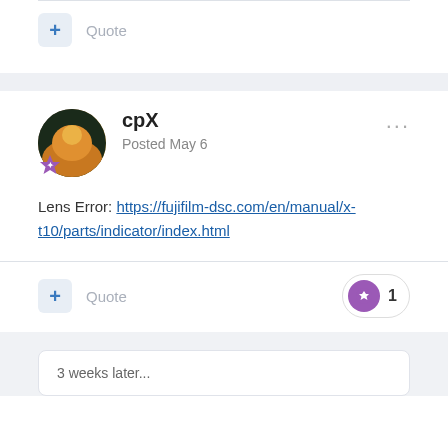Quote
cpX
Posted May 6
Lens Error: https://fujifilm-dsc.com/en/manual/x-t10/parts/indicator/index.html
Quote
1
3 weeks later...